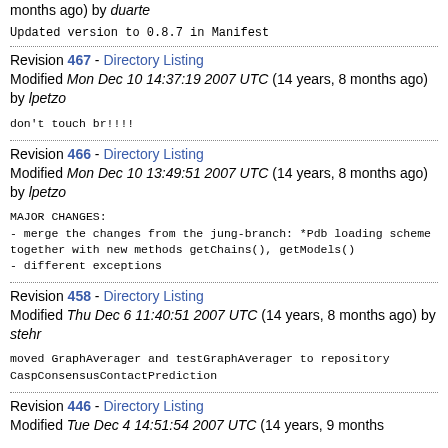months ago) by duarte
Updated version to 0.8.7 in Manifest
Revision 467 - Directory Listing
Modified Mon Dec 10 14:37:19 2007 UTC (14 years, 8 months ago) by lpetzo
don't touch br!!!!
Revision 466 - Directory Listing
Modified Mon Dec 10 13:49:51 2007 UTC (14 years, 8 months ago) by lpetzo
MAJOR CHANGES:
- merge the changes from the jung-branch: *Pdb loading scheme together with new methods getChains(), getModels()
- different exceptions
Revision 458 - Directory Listing
Modified Thu Dec 6 11:40:51 2007 UTC (14 years, 8 months ago) by stehr
moved GraphAverager and testGraphAverager to repository CaspConsensusContactPrediction
Revision 446 - Directory Listing
Modified Tue Dec 4 14:51:54 2007 UTC (14 years, 9 months